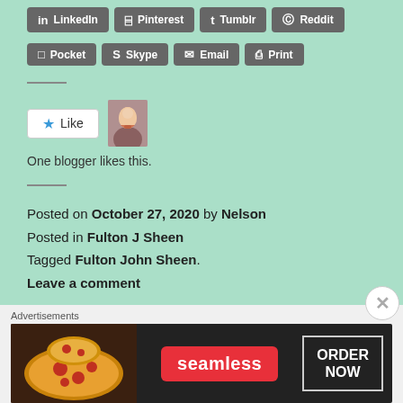[Figure (screenshot): Share buttons row: LinkedIn, Pinterest, Tumblr, Reddit]
[Figure (screenshot): Share buttons row: Pocket, Skype, Email, Print]
[Figure (screenshot): Like button widget with avatar showing Jesus image and text 'One blogger likes this.']
Posted on October 27, 2020 by Nelson
Posted in Fulton J Sheen
Tagged Fulton John Sheen.
Leave a comment
The Resurrection - Venerable Fulton John Sheen
[Figure (screenshot): Seamless food delivery advertisement banner with pizza image, Seamless logo, and ORDER NOW button]